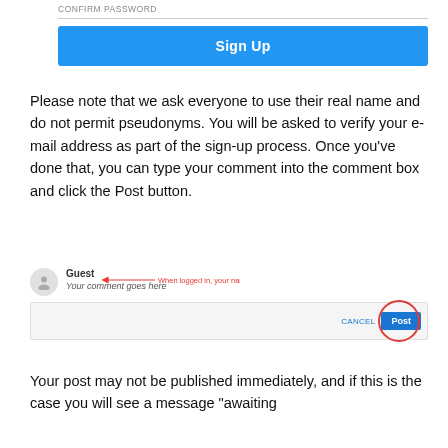CONFIRM PASSWORD
[Figure (screenshot): Blue 'Sign Up' button on a white form background]
Please note that we ask everyone to use their real name and do not permit pseudonyms. You will be asked to verify your e-mail address as part of the sign-up process. Once you've done that, you can type your comment into the comment box and click the Post button.
[Figure (screenshot): Comment interface mockup showing Guest user, annotation arrow saying 'When logged in, your name will appear here', comment placeholder text, Cancel link, and circled Post button]
Your post may not be published immediately, and if this is the case you will see a message "awaiting